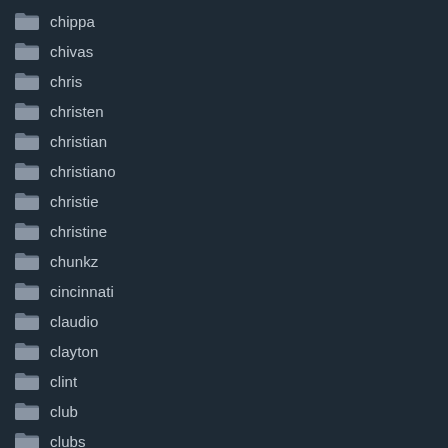chippa
chivas
chris
christen
christian
christiano
christie
christine
chunkz
cincinnati
claudio
clayton
clint
club
clubs
coach
cobi
coca-cola